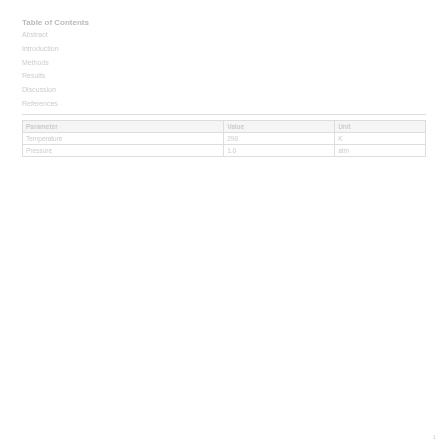Table of Contents
Abstract
Introduction
Methods
Results
Discussion
References
| Parameter | Value | Unit |
| --- | --- | --- |
| Temperature | 298 | K |
| Pressure | 1.0 | atm |
1